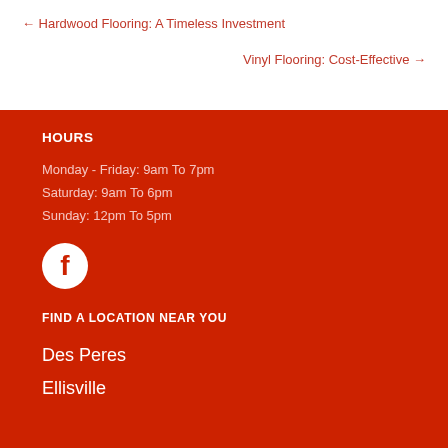← Hardwood Flooring: A Timeless Investment
Vinyl Flooring: Cost-Effective →
HOURS
Monday - Friday: 9am To 7pm
Saturday: 9am To 6pm
Sunday: 12pm To 5pm
[Figure (logo): Facebook logo icon, white circle with 'f' on red background]
FIND A LOCATION NEAR YOU
Des Peres
Ellisville